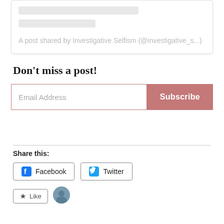[Figure (screenshot): Social media post card with skeleton loading lines and caption text reading 'A post shared by Investigative Selfism (@investigative_s...']
Don't miss a post!
[Figure (screenshot): Email subscription form with an email address input field and a Subscribe button]
Share this:
[Figure (screenshot): Social share buttons: Facebook and Twitter]
[Figure (screenshot): Like button and avatar at bottom]